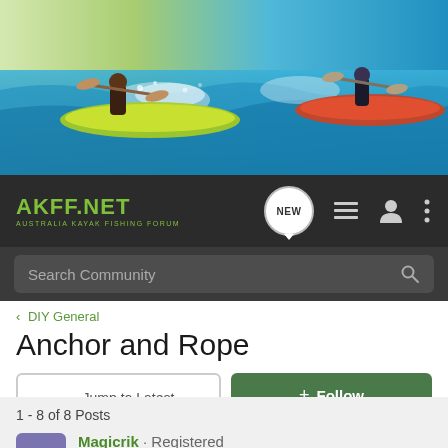[Figure (photo): Header banner showing kayakers paddling on water with yellow and red kayaks, splashing water]
AKFF.NET AUSTRALIA KAYAK FISHING FORUM | NEW | menu icons
Search Community
< DIY General
Anchor and Rope
→ Jump to Latest
+ Follow
1 - 8 of 8 Posts
Magicrik · Registered
Joined Jul 12, 2006 · 422 Posts